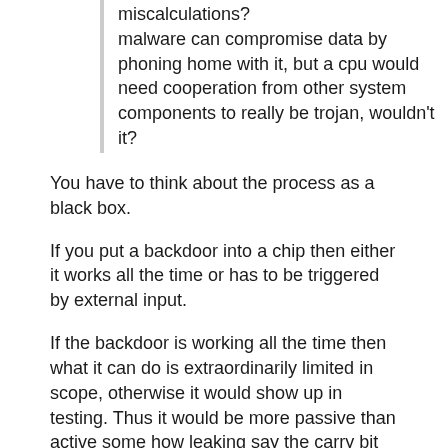miscalculations?
malware can compromise data by phoning home with it, but a cpu would need cooperation from other system components to really be trojan, wouldn't it?
You have to think about the process as a black box.
If you put a backdoor into a chip then either it works all the time or has to be triggered by external input.
If the backdoor is working all the time then what it can do is extraordinarily limited in scope, otherwise it would show up in testing. Thus it would be more passive than active some how leaking say the carry bit out in RF noise or on the power supply line. Likewise any co-pros such as for floating point or crypto.
Such limited capability has little or no range, possibly not even out of the equipment casing. However if equipment is captured but without the self destruct enabled –a fairly serious problem these days– an attacker could get a probe inside the casing and read out code etc from the backdoor.
A timed backdoor would take some expertise, affected rich